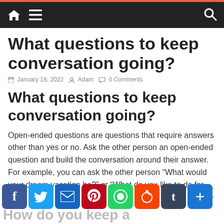Navigation bar with home, menu, and search icons
What questions to keep conversation going?
January 18, 2022   Adam   0 Comments
What questions to keep conversation going?
Open-ended questions are questions that require answers other than yes or no. Ask the other person an open-ended question and build the conversation around their answer. For example, you can ask the other person “What would your dream vacation be?” or “What do you like to do for fun?”
[Figure (other): Social sharing buttons: Facebook, Twitter, Email, Pinterest, WhatsApp, Reddit, Tumblr, Plus]
How do you keep a